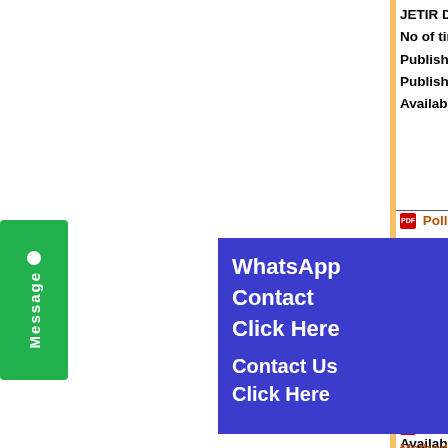JETIR DOI Member ID: 10.6084/m
No of times Downloads: 002850
Published Paper URL : https://ww
Published Paper PDF : https://ww
Available at : http://www.jetir.org/p
Pollution Contribution of... Environment at...
Authors: Shobha...
Registration ID...
Year : May 2019 | Volume: 6 | Iss...
Approved ISSN...
JETIR DOI Mem...
No of times Do...
Published Pape...
Published Paper PDF : https://ww
Available at : http://www.jetir.org/p
Defense Mechanism Using M... Methods for Web Based Attacks...
Authors: Khalid Akram, Gulzar Banu,
[Figure (other): Green Message button on left sidebar with white dot and vertical 'Message' text]